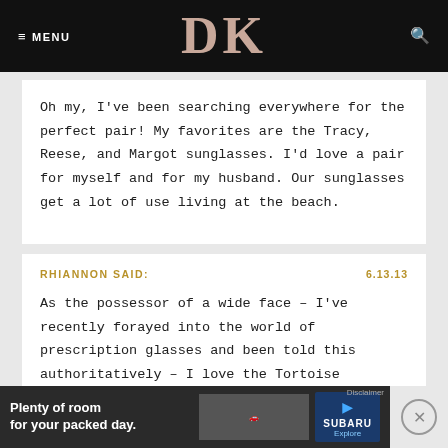≡ MENU   DK   🔍
Oh my, I've been searching everywhere for the perfect pair! My favorites are the Tracy, Reese, and Margot sunglasses. I'd love a pair for myself and for my husband. Our sunglasses get a lot of use living at the beach.
RHIANNON SAID:   6.13.13
As the possessor of a wide face – I've recently forayed into the world of prescription glasses and been told this authoritatively – I love the Tortoise Ma... The...
[Figure (other): Subaru advertisement banner showing car with text 'Plenty of room for your packed day.' and Explore button]